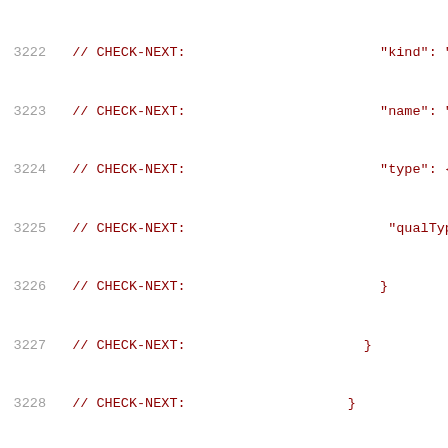Code listing lines 3222-3243 showing CHECK-NEXT comments with JSON-like structure including kind ParmV, name Array, type qualType, id 0x{{.*}}, kind OpaqueValue, range begin offset 2001 col 15 tokLen 1, end offset 2001